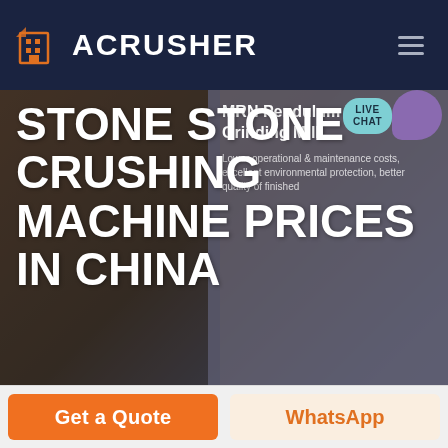ACRUSHER
STONE STONE CRUSHING MACHINE PRICES IN CHINA
[Figure (screenshot): Industrial grinding/crushing machine (MRN Pendulum Roller Grinding Mill) displayed in hero banner with text overlay]
MRN Pendulum Roller Grinding Mill
Lower operational & maintenance costs, excellent environmental protection, better quality of finished
LIVE CHAT
HOME  /  PRODUCTS
Get a Quote
WhatsApp